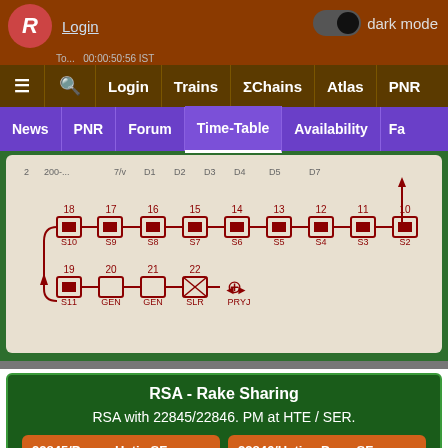Login  dark mode
≡  🔍  Login  Trains  ΣChains  Atlas  PNR
News  PNR  Forum  Time-Table  Availability  Fa
[Figure (schematic): Train rake composition diagram showing coaches numbered 10-22, labeled S2-S11, GEN, GEN, SLR, PRYJ with red box symbols and connecting lines]
RSA - Rake Sharing
RSA with 22845/22846. PM at HTE / SER.
22845/Pune - Hatia SF Express
22846/Hatia - Pune SF Express
Loco
PRYJ -> LTT
A JNUWAR-7
Scroll to Bi...